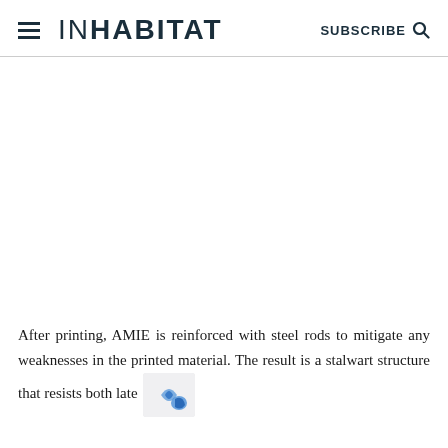INHABITAT  SUBSCRIBE
[Figure (photo): Large white/blank image area below the header, likely a photo of AMIE structure that did not load]
After printing, AMIE is reinforced with steel rods to mitigate any weaknesses in the printed material. The result is a stalwart structure that resists both late